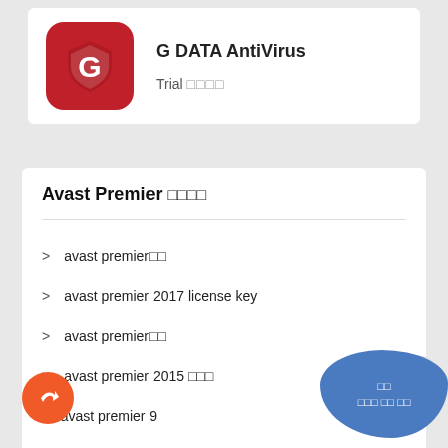[Figure (logo): G DATA AntiVirus red shield logo with G letter]
G DATA AntiVirus
Trial □□□□
Avast Premier □□□□
avast premier□□
avast premier 2017 license key
avast premier□□
avast premier 2015 □□□
avast premier 9
avast premier □□□□□